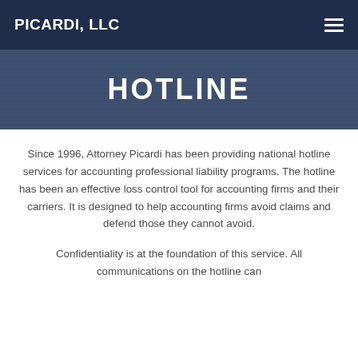PICARDI, LLC
HOTLINE
Since 1996, Attorney Picardi has been providing national hotline services for accounting professional liability programs. The hotline has been an effective loss control tool for accounting firms and their carriers. It is designed to help accounting firms avoid claims and defend those they cannot avoid.
Confidentiality is at the foundation of this service. All communications on the hotline can